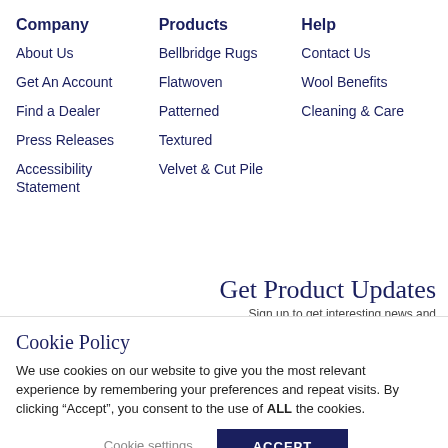Company
About Us
Get An Account
Find a Dealer
Press Releases
Accessibility Statement
Products
Bellbridge Rugs
Flatwoven
Patterned
Textured
Velvet & Cut Pile
Help
Contact Us
Wool Benefits
Cleaning & Care
Get Product Updates
Sign up to get interesting news and
Cookie Policy
We use cookies on our website to give you the most relevant experience by remembering your preferences and repeat visits. By clicking “Accept”, you consent to the use of ALL the cookies.
Cookie settings
ACCEPT